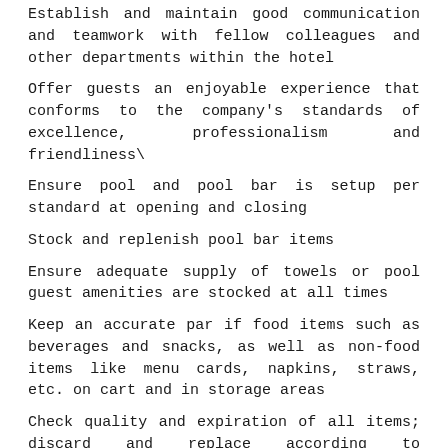Establish and maintain good communication and teamwork with fellow colleagues and other departments within the hotel
Offer guests an enjoyable experience that conforms to the company's standards of excellence, professionalism and friendliness\
Ensure pool and pool bar is setup per standard at opening and closing
Stock and replenish pool bar items
Ensure adequate supply of towels or pool guest amenities are stocked at all times
Keep an accurate par if food items such as beverages and snacks, as well as non-food items like menu cards, napkins, straws, etc. on cart and in storage areas
Check quality and expiration of all items; discard and replace according to established procedures
Take ownership of all service issues brought to your attention by guests
Support pool bartender and pool servers as needed throughout